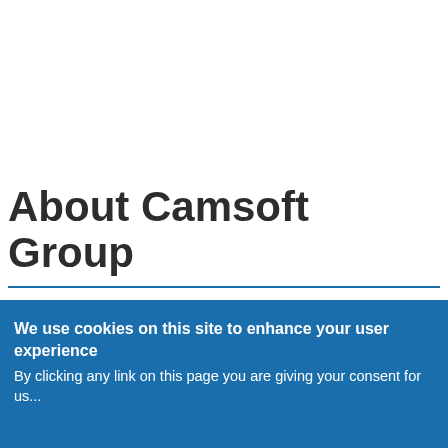About Camsoft Group
We use cookies on this site to enhance your user experience
By clicking any link on this page you are giving your consent for...